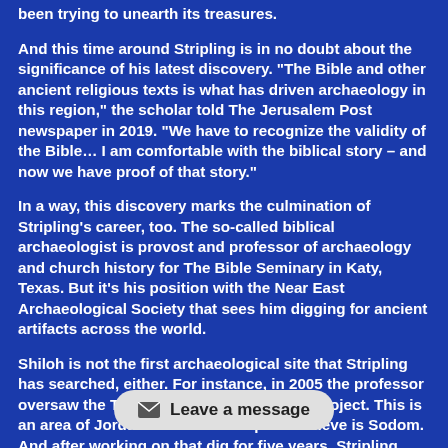been trying to unearth its treasures.
And this time around Stripling is in no doubt about the significance of his latest discovery. "The Bible and other ancient religious texts is what has driven archaeology in this region," the scholar told The Jerusalem Post newspaper in 2019. "We have to recognize the validity of the Bible… I am comfortable with the biblical story – and now we have proof of that story."
In a way, this discovery marks the culmination of Stripling's career, too. The so-called biblical archaeologist is provost and professor of archaeology and church history for The Bible Seminary in Katy, Texas. But it's his position with the Near East Archaeological Society that sees him digging for ancient artifacts across the world.
Shiloh is not the first archaeological site that Stripling has searched, either. For instance, in 2005 the professor oversaw the Tall el-Hammam Excavation Project. This is an area of Jordan that biblical experts believe is Sodom. And after working on that dig for five years, Stripling moved on to Khirbet el-Maqatir.
Stripling served as the director of the Khirbet el-Maqatir dig from 2010 through to 2017. And his team were certainly busy. In fact, the excavations at this loc... city of Ai, as described in the...